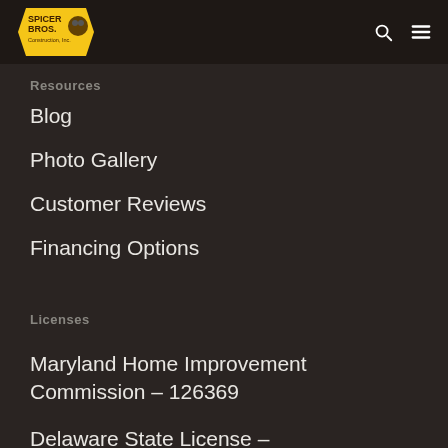Spicer Bros. Construction, Inc.
Resources
Blog
Photo Gallery
Customer Reviews
Financing Options
Licenses
Maryland Home Improvement Commission – 126369
Delaware State License – DE#2004203144